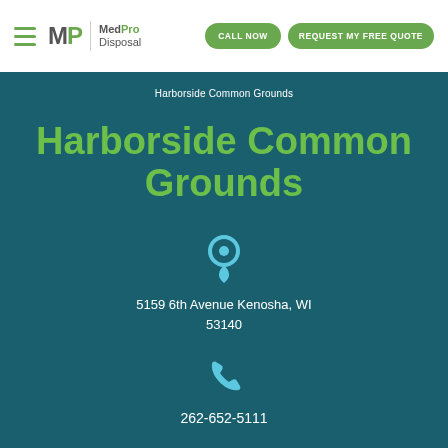MedPro Disposal | CALL NOW | REQUEST MY FREE QUOTE
Harborside Common Grounds
Harborside Common Grounds
[Figure (illustration): Blue location pin icon]
5159 6th Avenue Kenosha, WI 53140
[Figure (illustration): Blue phone handset icon]
262-652-5111